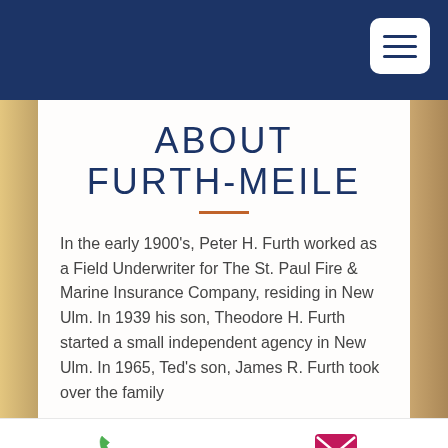ABOUT FURTH-MEILE
In the early 1900's, Peter H. Furth worked as a Field Underwriter for The St. Paul Fire & Marine Insurance Company, residing in New Ulm. In 1939 his son, Theodore H. Furth started a small independent agency in New Ulm. In 1965, Ted's son, James R. Furth took over the family